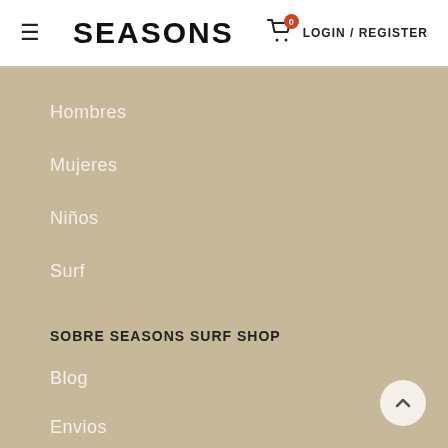≡  SEASONS  LOGIN / REGISTER
Hombres
Mujeres
Niños
Surf
SOBRE SEASONS SURF SHOP
Blog
Envios
Contacto
FAQ